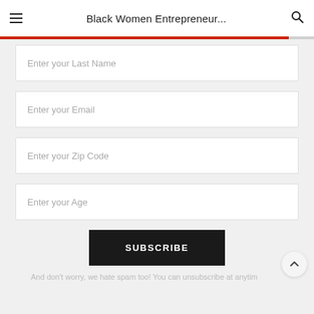Black Women Entrepreneur...
Enter your Last Name
Enter your Email
Enter your Zip Code
Enter your Age
SUBSCRIBE
And don't worry, we hate spam too! You can unsubscribe at anytim